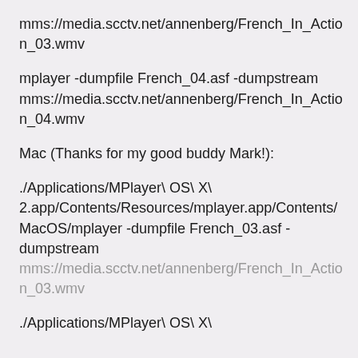mms://media.scctv.net/annenberg/French_In_Action_03.wmv
mplayer -dumpfile French_04.asf -dumpstream mms://media.scctv.net/annenberg/French_In_Action_04.wmv
Mac (Thanks for my good buddy Mark!):
./Applications/MPlayer\ OS\ X\ 2.app/Contents/Resources/mplayer.app/Contents/MacOS/mplayer -dumpfile French_03.asf -dumpstream mms://media.scctv.net/annenberg/French_In_Action_03.wmv
./Applications/MPlayer\ OS\ X\